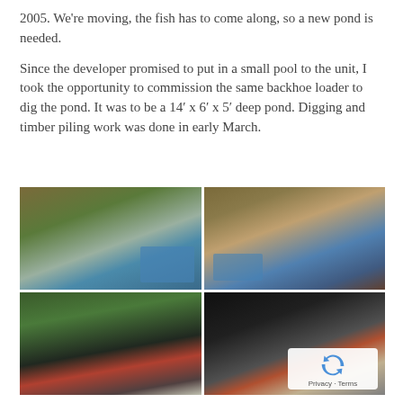2005. We're moving, the fish has to come along, so a new pond is needed.
Since the developer promised to put in a small pool to the unit, I took the opportunity to commission the same backhoe loader to dig the pond. It was to be a 14’ x 6’ x 5’ deep pond. Digging and timber piling work was done in early March.
[Figure (photo): Four-panel photo grid showing pond construction: top-left aerial view of excavated pond next to blue pool, top-right close-up of concrete block pond walls with blue tub, bottom-left workers plastering inside pond walls using ladder, bottom-right worker using equipment at night with spotlight.]